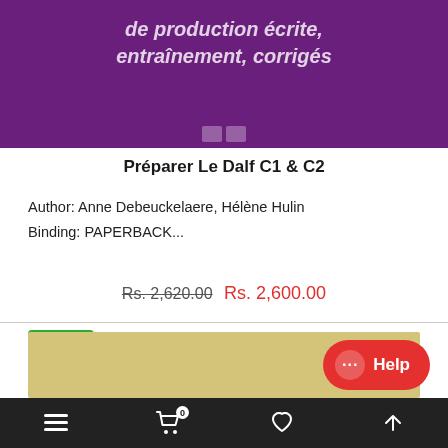[Figure (illustration): Purple book cover showing partial text 'de production écrite, entraînement, corrigés']
Préparer Le Dalf C1 & C2
Author: Anne Debeuckelaere, Hélène Hulin
Binding: PAPERBACK...
Rs. 2,620.00 Rs. 2,600.00
SALE
[Figure (other): Bottom portion of second product card with tan/yellow background]
Help